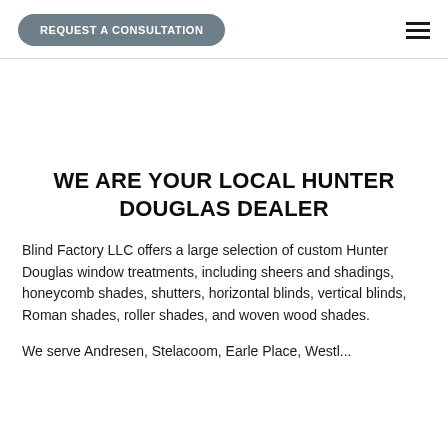REQUEST A CONSULTATION
WE ARE YOUR LOCAL HUNTER DOUGLAS DEALER
Blind Factory LLC offers a large selection of custom Hunter Douglas window treatments, including sheers and shadings, honeycomb shades, shutters, horizontal blinds, vertical blinds, Roman shades, roller shades, and woven wood shades.
We serve Andresen, Stelacoom, Earle Place, Westbrookand...